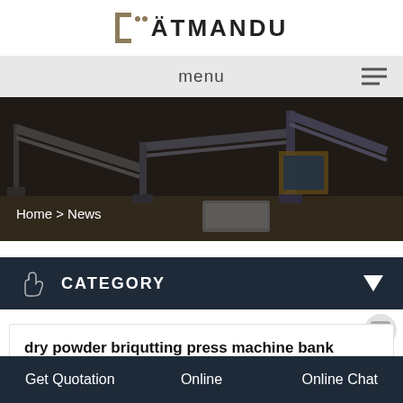[Figure (logo): KATMANDU logo with bracket and dots]
menu
[Figure (photo): Industrial machinery / mining equipment on a dusty site with conveyor belts, dark overlay]
Home > News
CATEGORY
dry powder briquetting press machine bank
Online  |  Get Quotation  |  Online Chat